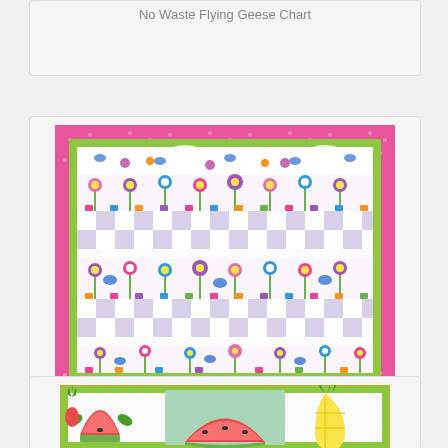No Waste Flying Geese Chart
[Figure (illustration): Colorful quilt pattern called On the Fence — pink dotted border, green inner border, repeating rows of appliqued flowers, birds, deer, and checkerboard squares in purples, pinks, greens, and blues]
On the Fence Free Quilt Pattern
[Figure (illustration): Partial view of a colorful quilt with fruit motif — watermelon slices, pineapple, and other fruit appliques with green and red borders visible at bottom of page]